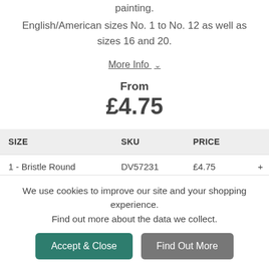painting.
English/American sizes No. 1 to No. 12 as well as sizes 16 and 20.
More Info ∨
From
£4.75
| SIZE | SKU | PRICE |
| --- | --- | --- |
| 1 - Bristle Round | DV57231 | £4.75 | + |
We use cookies to improve our site and your shopping experience. Find out more about the data we collect.
Accept & Close
Find Out More